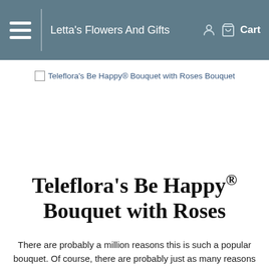Letta's Flowers And Gifts
Teleflora's Be Happy® Bouquet with Roses Bouquet
Teleflora's Be Happy® Bouquet with Roses
There are probably a million reasons this is such a popular bouquet. Of course, there are probably just as many reasons to